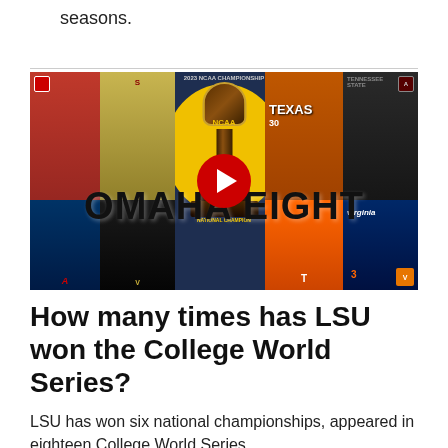seasons.
[Figure (screenshot): YouTube video thumbnail showing NCAA College World Series 'Omaha Eight' graphic with a trophy, player cards from various teams, and a YouTube play button overlay.]
How many times has LSU won the College World Series?
LSU has won six national championships, appeared in eighteen College World Series